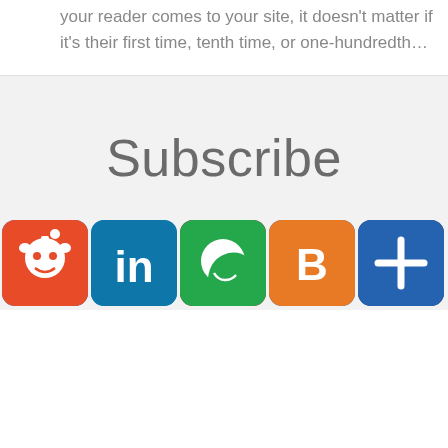your reader comes to your site, it doesn't matter if it's their first time, tenth time, or one-hundredth…
Subscribe
[Figure (infographic): Row of social media share buttons: Facebook (blue), Twitter (light blue), Pinterest (dark red), Email (blue), Tumblr (dark navy), Reddit (orange-red), LinkedIn (teal), WhatsApp (green), Blogger (orange), Share/Plus (blue)]